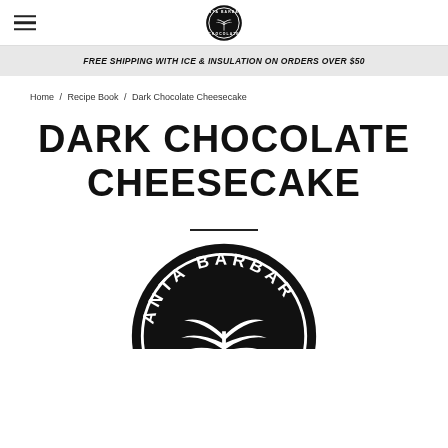Santa Barbara Chocolate — Logo and navigation header
FREE SHIPPING WITH ICE & INSULATION ON ORDERS OVER $50
Home / Recipe Book / Dark Chocolate Cheesecake
DARK CHOCOLATE CHEESECAKE
[Figure (logo): Santa Barbara Chocolate circular logo with palm tree illustration]